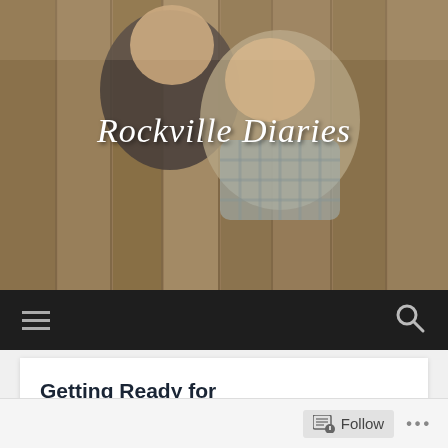[Figure (photo): Two young children (toddlers) leaning in to kiss each other, photographed against a wooden fence/wall background. Warm sepia-toned photo used as blog header.]
Rockville Diaries
[Figure (screenshot): Dark navigation bar with hamburger menu icon on left and search (magnifying glass) icon on right.]
Getting Ready for Chemotherapy
[Figure (photo): Close-up photo of multiple colorful snack/food packets (crackers, peanut butter, etc.) in plastic wrappers, spread out on a surface.]
Follow